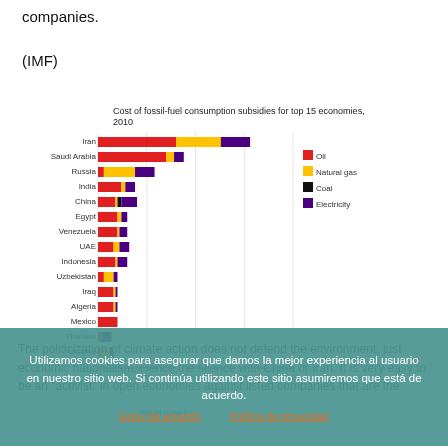companies.
(IMF)
[Figure (stacked-bar-chart): Cost of fossil-fuel consumption subsidies for top 15 economies, 2010]
Billion dollars
The politicization of climate action does not defend the environment, just economic nationalism. Hence the silence with China or Iran. It is very easy to be an "activist" in open economies against listed companies that are the